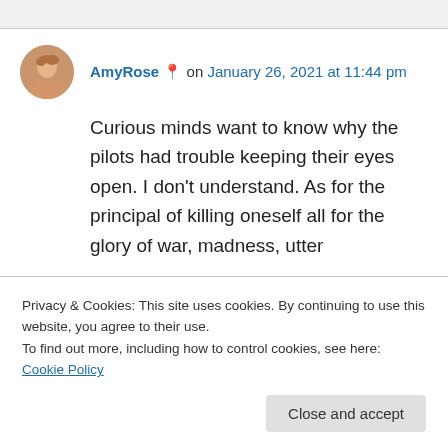AmyRose 📍 on January 26, 2021 at 11:44 pm
Curious minds want to know why the pilots had trouble keeping their eyes open. I don't understand. As for the principal of killing oneself all for the glory of war, madness, utter
Privacy & Cookies: This site uses cookies. By continuing to use this website, you agree to their use.
To find out more, including how to control cookies, see here: Cookie Policy
Close and accept